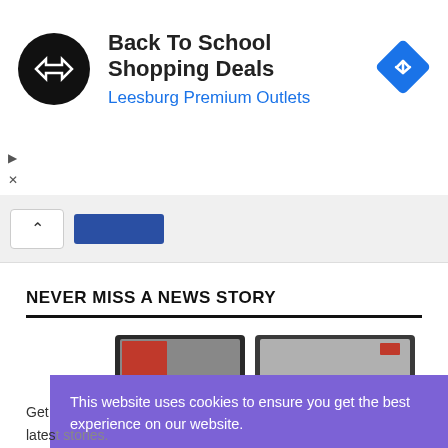[Figure (screenshot): Ad banner with black circular logo with arrow icons, text 'Back To School Shopping Deals' and 'Leesburg Premium Outlets' in blue, blue diamond navigation icon on right]
[Figure (screenshot): Navigation bar with up caret button and blue rectangle tab]
NEVER MISS A NEWS STORY
[Figure (screenshot): Partially visible tablet/device images behind cookie consent overlay]
This website uses cookies to ensure you get the best experience on our website. Learn more
Got it
Get latest stories.